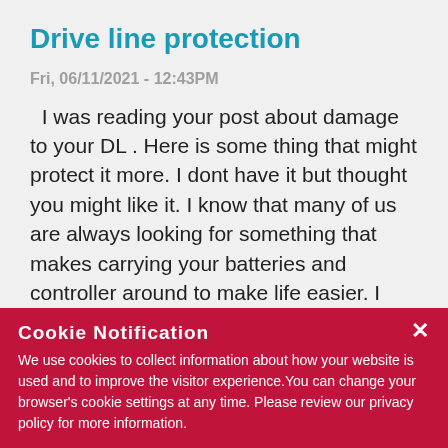Drive line protection
Fri, 06/11/2021 - 12:43PM
I was reading your post about damage to your DL . Here is some thing that might protect it more. I dont have it but thought you might like it. I know that many of us are always looking for something that makes carrying your batteries and controller around to make life easier. I myself have been looking for a decent backpack. Does anyone here have a suggestion for one that they like ?
https://mgdi.materials.com/product/the-
https://mgdi.materials.com/product/the-
Cookie Notification
We use cookies to collect information about how your website is used and to improve the visitor experience. You can change your browser's cookie settings at any time. Please review our privacy policy for more information.